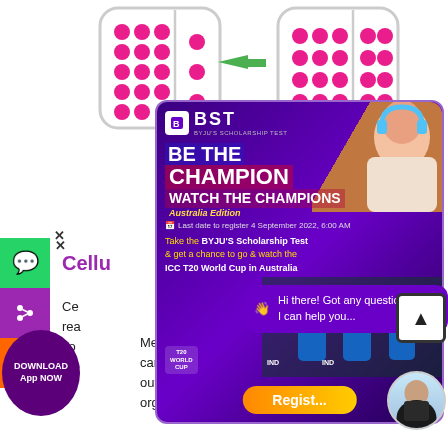[Figure (illustration): Diffusion diagram showing two compartments with pink dots (concentrated on left) moving through a barrier to equalize, with a green arrow between before and after states.]
[Figure (infographic): BST (BYJU'S Scholarship Test) advertisement popup. Purple background with text 'BE THE CHAMPION / WATCH THE CHAMPIONS / Australia Edition'. Last date to register 4 September 2022, 6:00 AM. Promotes BYJU'S Scholarship Test to win a chance to watch ICC T20 World Cup in Australia. Shows Register button. Image of girl with headphones and cricket players.]
Hi there! Got any questions? I can help you...
Cellu
Metabolism refers to a set of chemical reactions carried out for maintaining the living state of the cells in an organism. These can be divided into two categories: